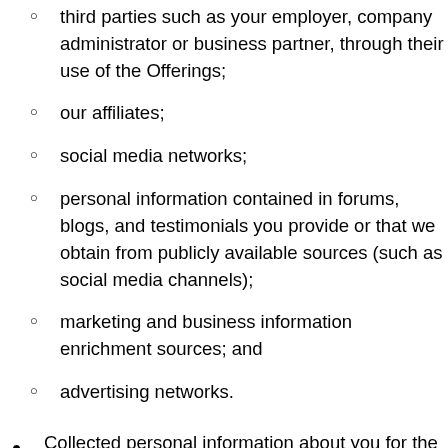third parties such as your employer, company administrator or business partner, through their use of the Offerings;
our affiliates;
social media networks;
personal information contained in forums, blogs, and testimonials you provide or that we obtain from publicly available sources (such as social media channels);
marketing and business information enrichment sources; and
advertising networks.
Collected personal information about you for the following business or commercial purposes